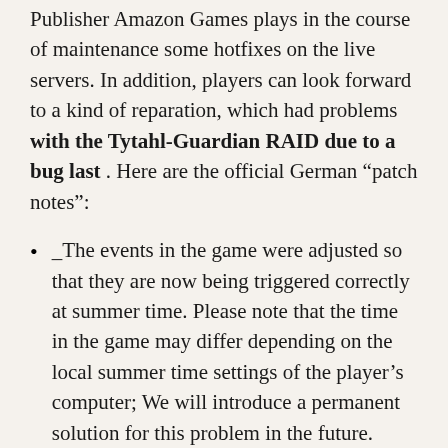Publisher Amazon Games plays in the course of maintenance some hotfixes on the live servers. In addition, players can look forward to a kind of reparation, which had problems with the Tytahl-Guardian RAID due to a bug last . Here are the official German “patch notes”:
_The events in the game were adjusted so that they are now being triggered correctly at summer time. Please note that the time in the game may differ depending on the local summer time settings of the player’s computer; We will introduce a permanent solution for this problem in the future.
Ausgrund the problems with the timers in the game and the associated confusion as the temporary Arkesia-Grand Prix event took place, we provide all players 3,000